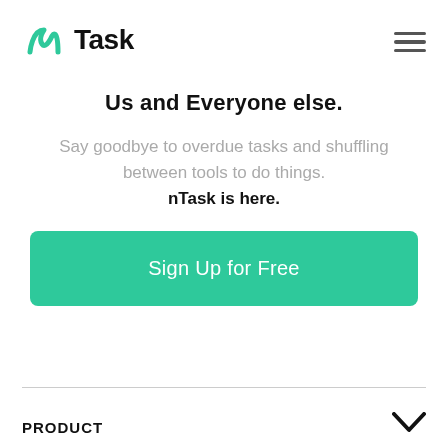[Figure (logo): nTask logo with green N icon and bold 'Task' text]
Us and Everyone else.
Say goodbye to overdue tasks and shuffling between tools to do things. nTask is here.
[Figure (other): Green 'Sign Up for Free' call-to-action button]
PRODUCT